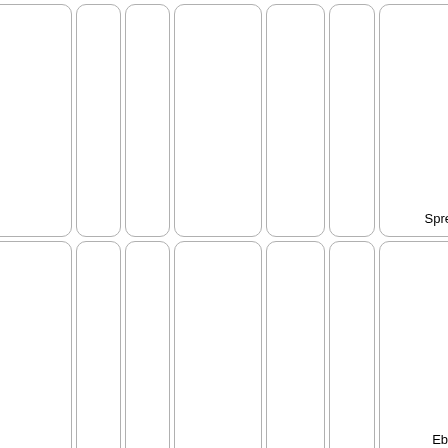| Year Start | Col2 | Year End | Col4 | Col5 | Event | Description |
| --- | --- | --- | --- | --- | --- | --- |
|  |  |  |  |  | Spreads | increase in cases of microcephaly... the WHO timeline |
| 2014 | 3 | 2016 | 12 |  | Ebola outbreak from 2014 | The Ebola outbreak took place primarily in Guinea, Liberia, and Sierra Leone. There were cases and deaths. Learn more timeline about Ebola outbreak. Find out about the |